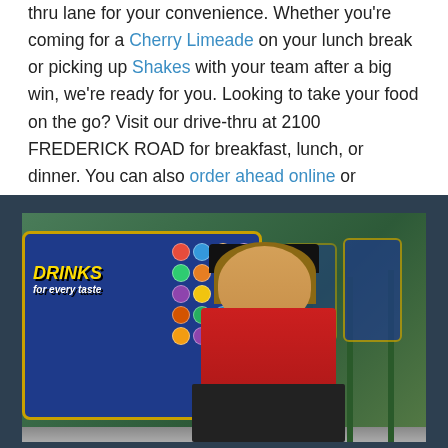thru lane for your convenience. Whether you're coming for a Cherry Limeade on your lunch break or picking up Shakes with your team after a big win, we're ready for you. Looking to take your food on the go? Visit our drive-thru at 2100 FREDERICK ROAD for breakfast, lunch, or dinner. You can also order ahead online or through the SONIC app!
[Figure (photo): A smiling SONIC employee in a red polo shirt and black visor stands in front of SONIC drive-in menu boards displaying colorful drink options. The sign reads 'DRINKS for every taste'. Green poles and a covered drive-in lane are visible in the background.]